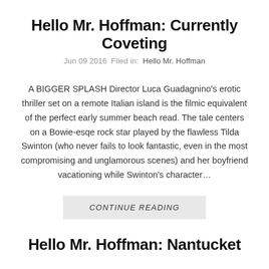Hello Mr. Hoffman: Currently Coveting
Jun 09 2016  Filed in:  Hello Mr. Hoffman
A BIGGER SPLASH Director Luca Guadagnino's erotic thriller set on a remote Italian island is the filmic equivalent of the perfect early summer beach read. The tale centers on a Bowie-esqe rock star played by the flawless Tilda Swinton (who never fails to look fantastic, even in the most compromising and unglamorous scenes) and her boyfriend vacationing while Swinton's character…
CONTINUE READING
Hello Mr. Hoffman: Nantucket